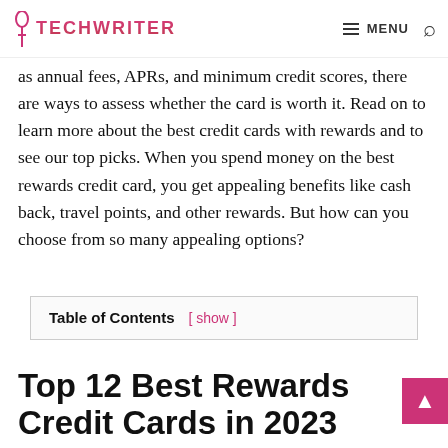TECHWRITER — MENU [search icon]
as annual fees, APRs, and minimum credit scores, there are ways to assess whether the card is worth it. Read on to learn more about the best credit cards with rewards and to see our top picks. When you spend money on the best rewards credit card, you get appealing benefits like cash back, travel points, and other rewards. But how can you choose from so many appealing options?
Table of Contents [ show ]
Top 12 Best Rewards Credit Cards in 2023